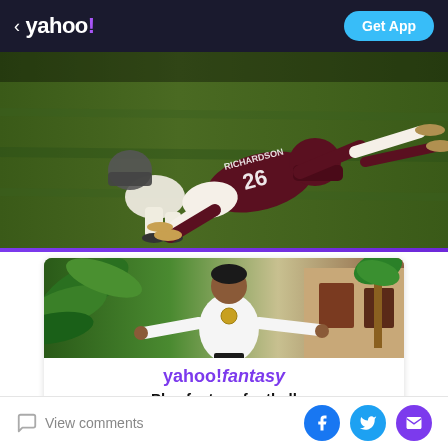< yahoo! Get App
[Figure (photo): Football player #26 Richardson diving/tackled on green grass field]
[Figure (photo): Yahoo Fantasy Football advertisement card with man in white jacket with arms spread, tropical background. Shows 'yahoo!fantasy' logo and 'Play fantasy football' text.]
yahoo!fantasy
Play fantasy football
View comments